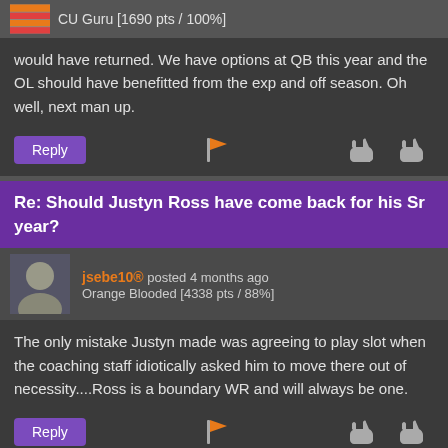CU Guru [1690 pts / 100%]
would have returned. We have options at QB this year and the OL should have benefitted from the exp and off season. Oh well, next man up.
Re: Should Justyn Ross have come back for his Sr year?
jsebe10® posted 4 months ago
Orange Blooded [4338 pts / 88%]
The only mistake Justyn made was agreeing to play slot when the coaching staff idiotically asked him to move there out of necessity....Ross is a boundary WR and will always be one.